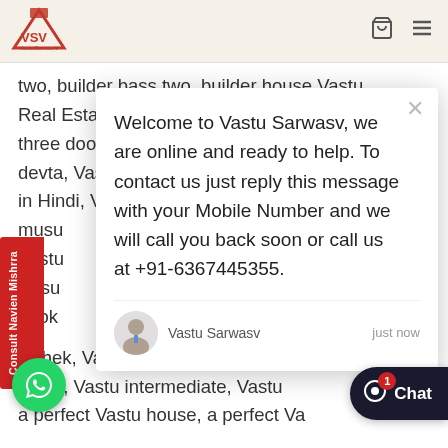VastuSarwasV
two, builder bass two, builder house Vastu, Real Estate Vastu, Vastu 32 entrance, Vastu three door, 3BHK Vastu layout, Vastu 45 devta, Vastu trip, Vastu tips, Vastu trip, Vastu in Hindi, Vastushastri, Vasu Finance, barstool musu Vastu Ahsu book Mah Vast st ll)
Welcome to Vastu Sarwasv, we are online and ready to help. To contact us just reply this message with your Mobile Number and we will call you back soon or call us at +91-6367445355.
Vastu Sarwasv   just now
hishek, Vastu bedroom, Vastushastri, Vastu aning, Vastu intermediate, Vastu a perfect Vastu house, a perfect Va